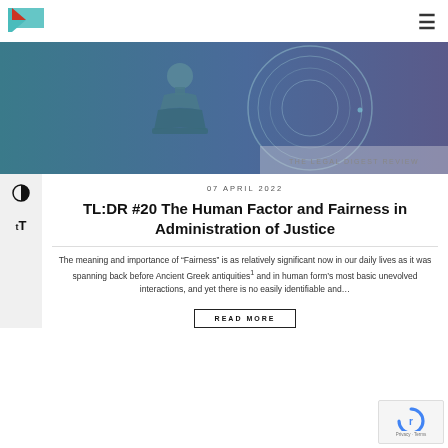[Figure (logo): Geometric logo with teal and red triangle shapes]
[Figure (photo): Hero image: chess pawn piece with circular magnifying glass on a blue-tinted background. Label in bottom right: THE LEGAL DIGEST REVIEW]
07 APRIL 2022
TL:DR #20 The Human Factor and Fairness in Administration of Justice
The meaning and importance of “Fairness” is as relatively significant now in our daily lives as it was spanning back before Ancient Greek antiquities[1] and in human form’s most basic unevolved interactions, and yet there is no easily identifiable and…
READ MORE